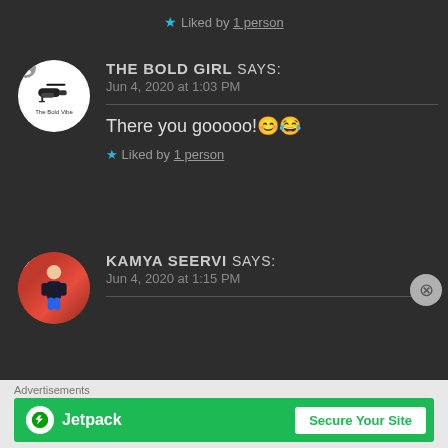★ Liked by 1 person
THE BOLD GIRL says:
Jun 4, 2020 at 1:03 PM
There you gooooo!😊😂
★ Liked by 1 person
KAMYA SEERVI says:
Jun 4, 2020 at 1:15 PM
[Figure (other): Jetpack advertisement banner with green background, Jetpack logo and 'Secure Your Site' button]
Advertisements